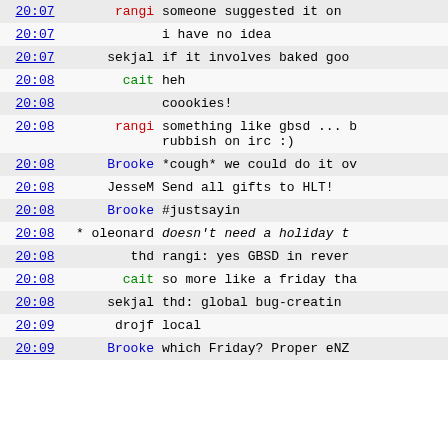| time | nick | message |
| --- | --- | --- |
| 20:07 | rangi | someone suggested it on |
| 20:07 |  | i have no idea |
| 20:07 | sekjal | if it involves baked goo |
| 20:08 | cait | heh |
| 20:08 |  | coookies! |
| 20:08 | rangi | something like gbsd ... b
rubbish on irc :) |
| 20:08 | Brooke | *cough* we could do it ov |
| 20:08 | JesseM | Send all gifts to HLT! |
| 20:08 | Brooke | #justsayin |
| 20:08 | * oleonard | doesn't need a holiday t |
| 20:08 | thd | rangi: yes GBSD in rever |
| 20:08 | cait | so more like a friday tha |
| 20:08 | sekjal | thd:  global bug-creatin |
| 20:09 | drojf | local |
| 20:09 | Brooke | which Friday? Proper eNZ |